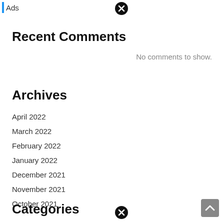Ads
Recent Comments
No comments to show.
Archives
April 2022
March 2022
February 2022
January 2022
December 2021
November 2021
October 2021
Categories